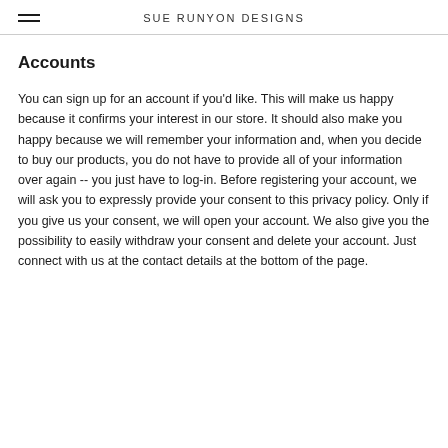SUE RUNYON DESIGNS
Accounts
You can sign up for an account if you'd like. This will make us happy because it confirms your interest in our store. It should also make you happy because we will remember your information and, when you decide to buy our products, you do not have to provide all of your information over again -- you just have to log-in. Before registering your account, we will ask you to expressly provide your consent to this privacy policy. Only if you give us your consent, we will open your account. We also give you the possibility to easily withdraw your consent and delete your account. Just connect with us at the contact details at the bottom of the page.